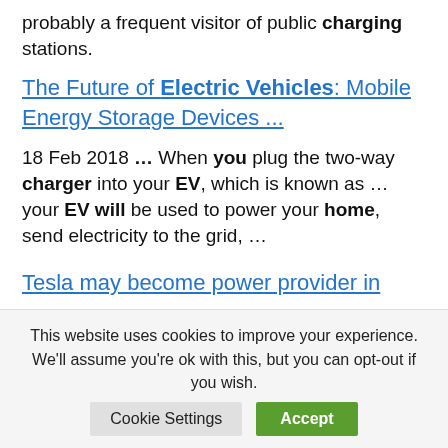probably a frequent visitor of public charging stations.
The Future of Electric Vehicles: Mobile Energy Storage Devices ...
18 Feb 2018 ... When you plug the two-way charger into your EV, which is known as ... your EV will be used to power your home, send electricity to the grid, ...
Tesla may become power provider in
This website uses cookies to improve your experience. We'll assume you're ok with this, but you can opt-out if you wish.